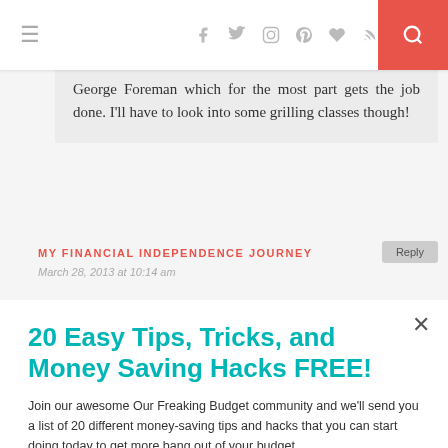Navigation bar with hamburger menu, social icons (Facebook, Twitter, Instagram, Pinterest, heart, RSS), and search button
George Foreman which for the most part gets the job done. I'll have to look into some grilling classes though!
MY FINANCIAL INDEPENDENCE JOURNEY
March 28, 2013 at 10:14 am
20 Easy Tips, Tricks, and Money Saving Hacks FREE!
Join our awesome Our Freaking Budget community and we'll send you a list of 20 different money-saving tips and hacks that you can start doing today to get more bang out of your budget.